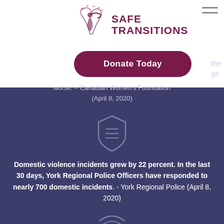[Figure (logo): Safe Transitions logo with bird/tree illustration and dark red text reading SAFE TRANSITIONS]
[Figure (other): Donate Today button - dark maroon rounded rectangle with white text]
worse. – Canadian Women's Foundation (April 8, 2020)
[Figure (other): Shield icon with horizontal lines, light purple/grey color on dark blue-purple background]
Domestic violence incidents grew by 22 percent. In the last 30 days, York Regional Police Officers have responded to nearly 700 domestic incidents. - York Regional Police (April 8, 2020)
[Figure (other): WiFi/signal icon at bottom, light purple on dark blue-purple background]